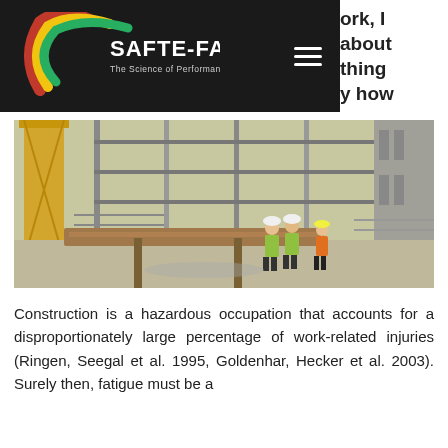SAFTE-FAST — The Science of Performance at Work
[Figure (photo): Construction site with workers in high-visibility vests and hard hats near scaffolding and structural steel framework.]
Construction is a hazardous occupation that accounts for a disproportionately large percentage of work-related injuries (Ringen, Seegal et al. 1995, Goldenhar, Hecker et al. 2003). Surely then, fatigue must be a